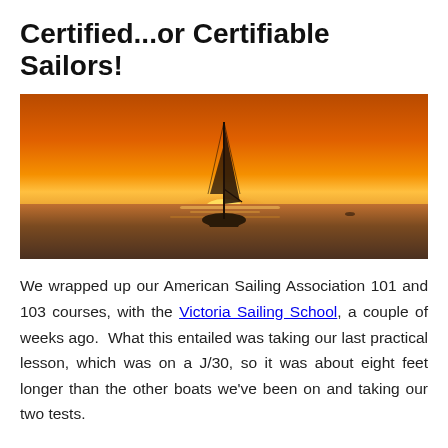Certified...or Certifiable Sailors!
[Figure (photo): A sailboat silhouetted against a vivid orange and golden sunset sky over calm water.]
We wrapped up our American Sailing Association 101 and 103 courses, with the Victoria Sailing School, a couple of weeks ago.  What this entailed was taking our last practical lesson, which was on a J/30, so it was about eight feet longer than the other boats we've been on and taking our two tests.